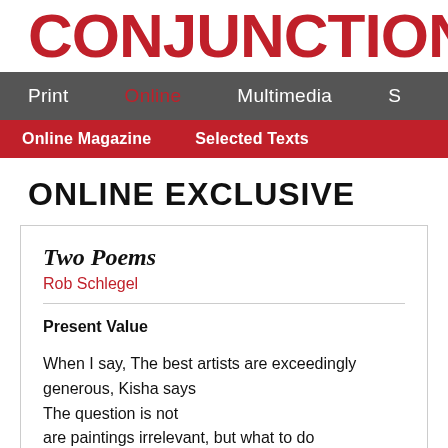CONJUNCTIONS Rea
Print  Online  Multimedia  S
Online Magazine  Selected Texts
ONLINE EXCLUSIVE
Two Poems
Rob Schlegel
Present Value
When I say, The best artists are exceedingly generous, Kisha says
The question is not
are paintings irrelevant, but what to do